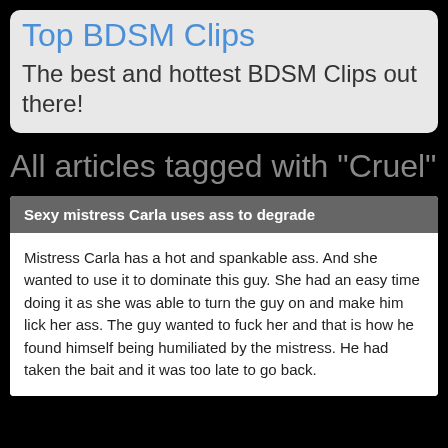Top BDSM Clips
The best and hottest BDSM Clips out there!
All articles tagged with "Cruel"
Sexy mistress Carla uses ass to degrade
Mistress Carla has a hot and spankable ass. And she wanted to use it to dominate this guy. She had an easy time doing it as she was able to turn the guy on and make him lick her ass. The guy wanted to fuck her and that is how he found himself being humiliated by the mistress. He had taken the bait and it was too late to go back.